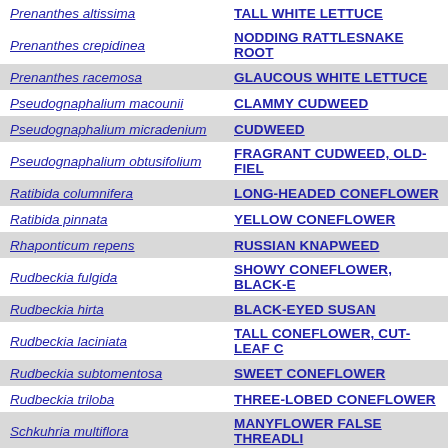| Scientific Name | Common Name |
| --- | --- |
| Prenanthes altissima | TALL WHITE LETTUCE |
| Prenanthes crepidinea | NODDING RATTLESNAKE ROOT |
| Prenanthes racemosa | GLAUCOUS WHITE LETTUCE |
| Pseudognaphalium macounii | CLAMMY CUDWEED |
| Pseudognaphalium micradenium | CUDWEED |
| Pseudognaphalium obtusifolium | FRAGRANT CUDWEED, OLD-FIELD |
| Ratibida columnifera | LONG-HEADED CONEFLOWER |
| Ratibida pinnata | YELLOW CONEFLOWER |
| Rhaponticum repens | RUSSIAN KNAPWEED |
| Rudbeckia fulgida | SHOWY CONEFLOWER, BLACK-E |
| Rudbeckia hirta | BLACK-EYED SUSAN |
| Rudbeckia laciniata | TALL CONEFLOWER, CUT-LEAF C |
| Rudbeckia subtomentosa | SWEET CONEFLOWER |
| Rudbeckia triloba | THREE-LOBED CONEFLOWER |
| Schkuhria multiflora | MANYFLOWER FALSE THREADLE |
| Scorzoneroides autumnalis | FALL-DANDELION |
| Senecio sylvaticus | WOODLAND RAGWORT |
| Senecio vernalis | EASTERN GROUNDSEL |